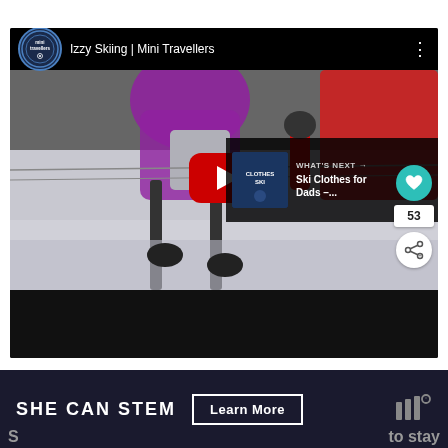[Figure (screenshot): YouTube embedded video player showing 'Izzy Skiing | Mini Travellers' with YouTube play button overlay. Video thumbnail shows a skiing scene with purple and red jacket. Mini Travellers channel logo in top-left. Like count of 53 and share button on the right side. 'WHAT'S NEXT' overlay in bottom-right showing 'Ski Clothes for Dads -...'.]
SHE CAN STEM  Learn More
S...  to stay